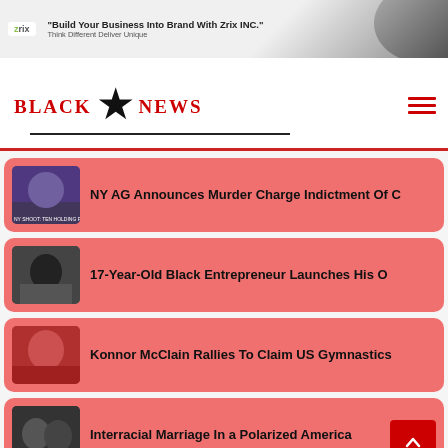[Figure (illustration): Ad banner for Zrix INC with logo, headline 'Build Your Business Into Brand With Zrix INC.' and subtext 'Think Different Deliver Unique', man in background]
[Figure (logo): Black Star News logo with 'BLACK' and 'NEWS' in red blackletter font flanking a black star, with underline and hamburger menu icon]
NY AG Announces Murder Charge Indictment Of C
17-Year-Old Black Entrepreneur Launches His O
Konnor McClain Rallies To Claim US Gymnastics
Interracial Marriage In a Polarized America